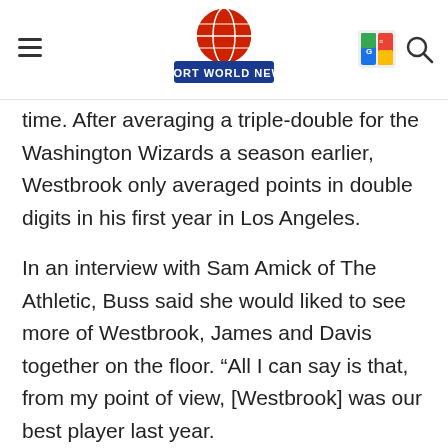Sport World News
time. After averaging a triple-double for the Washington Wizards a season earlier, Westbrook only averaged points in double digits in his first year in Los Angeles.
In an interview with Sam Amick of The Athletic, Buss said she would liked to see more of Westbrook, James and Davis together on the floor. “All I can say is that, from my point of view, [Westbrook] was our best player last year.
He played pretty much every single game, showed up, worked hard,” she said. “You know, I would have loved to have seen what this team would